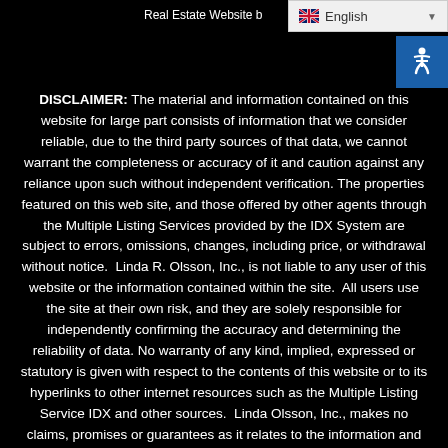Real Estate Website b...
DISCLAIMER: The material and information contained on this website for large part consists of information that we consider reliable, due to the third party sources of that data, we cannot warrant the completeness or accuracy of it and caution against any reliance upon such without independent verification. The properties featured on this web site, and those offered by other agents through the Multiple Listing Services provided by the IDX System are subject to errors, omissions, changes, including price, or withdrawal without notice. Linda R. Olsson, Inc., is not liable to any user of this website or the information contained within the site. All users use the site at their own risk, and they are solely responsible for independently confirming the accuracy and determining the reliability of data. No warranty of any kind, implied, expressed or statutory is given with respect to the contents of this website or to its hyperlinks to other internet resources such as the Multiple Listing Service IDX and other sources. Linda Olsson, Inc., makes no claims, promises or guarantees as it relates to the information and content of this website, including the graphics, information, data, services and the accuracy, content, and data provided herein. By use of this website, the user agrees to having read the disclaimers and accepts the above terms and